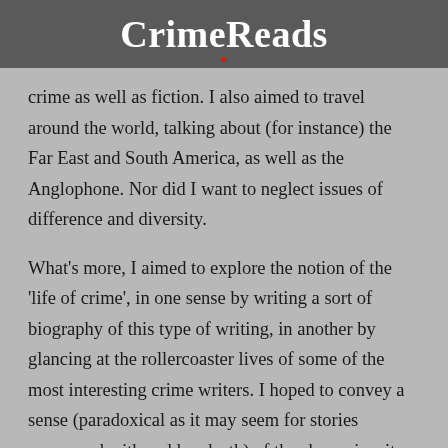CrimeReads
crime as well as fiction. I also aimed to travel around the world, talking about (for instance) the Far East and South America, as well as the Anglophone. Nor did I want to neglect issues of difference and diversity.
What’s more, I aimed to explore the notion of the ‘life of crime’, in one sense by writing a sort of biography of this type of writing, in another by glancing at the rollercoaster lives of some of the most interesting crime writers. I hoped to convey a sense (paradoxical as it may seem for stories concerned with sudden death) of the sheer vivacity of this branch of fiction. And I was keen to pursue one of my hobby-horses, the connections that unite authors—however varied their